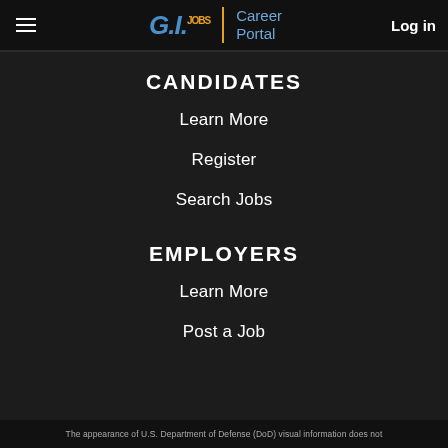G.I. Jobs Career Portal — Log in
CANDIDATES
Learn More
Register
Search Jobs
EMPLOYERS
Learn More
Post a Job
The appearance of U.S. Department of Defense (DoD) visual information does not